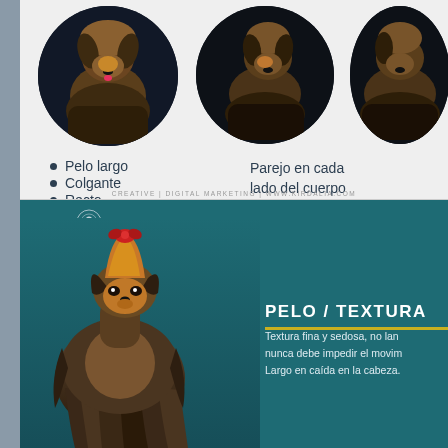[Figure (photo): Three Yorkshire Terrier dogs shown in circular frames against dark background, top section of page]
Pelo largo
Colgante
Recto
Parejo en cada lado del cuerpo
CREATIVE | DIGITAL MARKETING | WWW.KIRDALIA.COM
[Figure (photo): Large Yorkshire Terrier dog with long flowing silky coat, red bow on head, on teal background with Kirdalia Yorkshire Terrier Club logo]
PELO / TEXTURA
Textura fina y sedosa, no lan nunca debe impedir el movim Largo en caída en la cabeza.